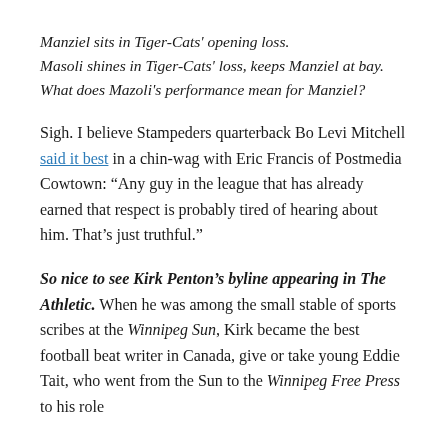Manziel sits in Tiger-Cats' opening loss.
Masoli shines in Tiger-Cats' loss, keeps Manziel at bay.
What does Mazoli's performance mean for Manziel?
Sigh. I believe Stampeders quarterback Bo Levi Mitchell said it best in a chin-wag with Eric Francis of Postmedia Cowtown: “Any guy in the league that has already earned that respect is probably tired of hearing about him. That’s just truthful.”
So nice to see Kirk Penton’s byline appearing in The Athletic. When he was among the small stable of sports scribes at the Winnipeg Sun, Kirk became the best football beat writer in Canada, give or take young Eddie Tait, who went from the Sun to the Winnipeg Free Press to his role